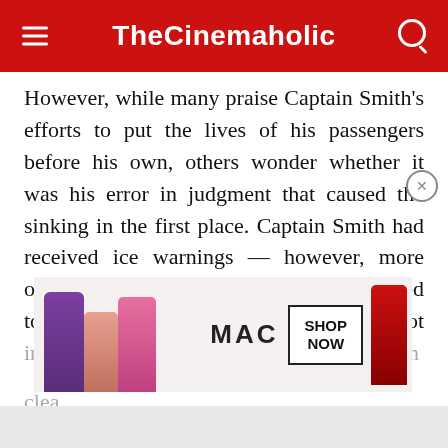TheCinemaholic
However, while many praise Captain Smith's efforts to put the lives of his passengers before his own, others wonder whether it was his error in judgment that caused the sinking in the first place. Captain Smith had received ice warnings — however, more often than not, these reports simply referred to the positions of ice in water and were not indicative of immediate danger, especially in clear
[Figure (photo): MAC cosmetics advertisement showing lipsticks in purple, peach, pink and red colors with MAC logo and SHOP NOW button]